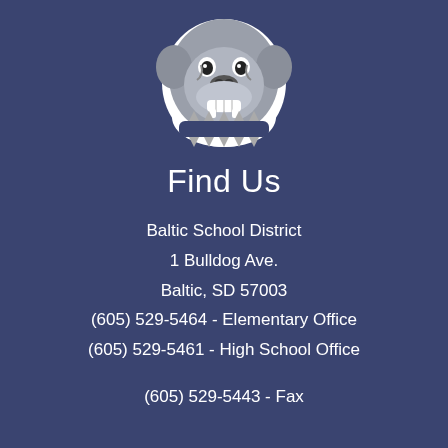[Figure (logo): Baltic School District bulldog mascot logo — grey bulldog face with spiked collar, white outline, on dark navy background]
Find Us
Baltic School District
1 Bulldog Ave.
Baltic, SD 57003
(605) 529-5464 - Elementary Office
(605) 529-5461 - High School Office
(605) 529-5443 - Fax